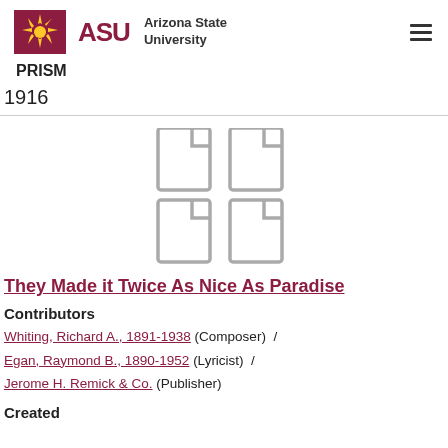ASU Arizona State University PRISM
1916
[Figure (illustration): Four document/page icons arranged in a 2x2 grid, gray outlined style]
They Made it Twice As Nice As Paradise
Contributors
Whiting, Richard A., 1891-1938 (Composer) / Egan, Raymond B., 1890-1952 (Lyricist) / Jerome H. Remick & Co. (Publisher)
Created